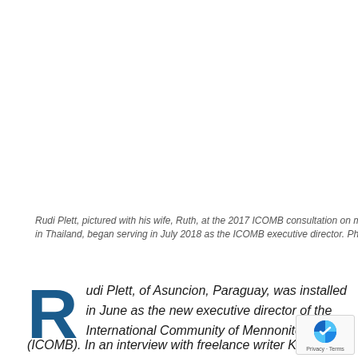Rudi Plett, pictured with his wife, Ruth, at the 2017 ICOMB consultation on mission and prayer in Thailand, began serving in July 2018 as the ICOMB executive director. Photo: ICOMB
Rudi Plett, of Asuncion, Paraguay, was installed in June as the new executive director of the International Community of Mennonite Bre (ICOMB). In an interview with freelance writer Kathy